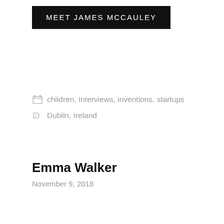MEET JAMES MCCAULEY
children, Interviews, inventions, startups
Dublin, Ireland
Emma Walker
November 9, 2018